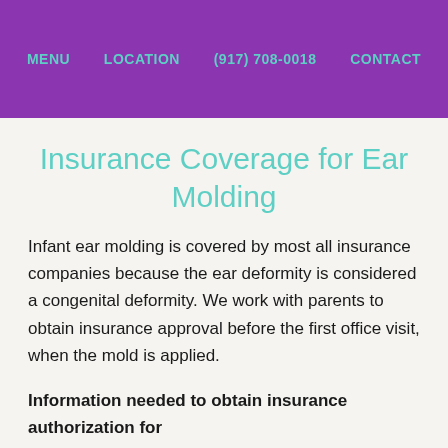MENU   LOCATION   (917) 708-0018   CONTACT
Insurance Coverage for Ear Molding
Infant ear molding is covered by most all insurance companies because the ear deformity is considered a congenital deformity. We work with parents to obtain insurance approval before the first office visit, when the mold is applied.
Information needed to obtain insurance authorization for